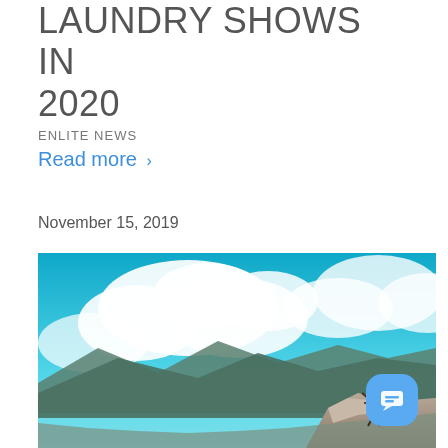LAUNDRY SHOWS IN 2020
ENLITE NEWS
Read more ›
November 15, 2019
[Figure (photo): A hiker standing on a rocky mountain peak with arms raised in triumph, set against a dramatic blue sky with large white clouds and mountain ranges in the background.]